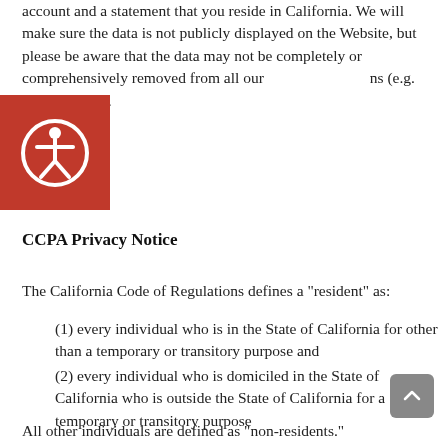account and a statement that you reside in California. We will make sure the data is not publicly displayed on the Website, but please be aware that the data may not be completely or comprehensively removed from all our systems (e.g. backups, etc.).
[Figure (illustration): Red square accessibility icon with a person symbol in white]
CCPA Privacy Notice
The California Code of Regulations defines a "resident" as:
(1) every individual who is in the State of California for other than a temporary or transitory purpose and
(2) every individual who is domiciled in the State of California who is outside the State of California for a temporary or transitory purpose
All other individuals are defined as "non-residents."